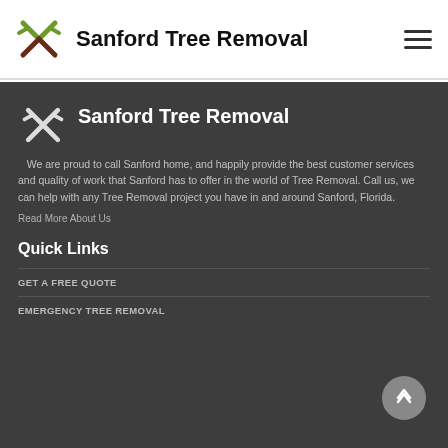Sanford Tree Removal
Sanford Tree Removal
We are proud to call Sanford home, and happily provide the best customer services and quality of work that Sanford has to offer in the world of Tree Removal. Call us, we can help with any Tree Removal project you have in and around Sanford, Florida.
Read More About Us
Quick Links
GET A FREE QUOTE
EMERGENCY TREE REMOVAL